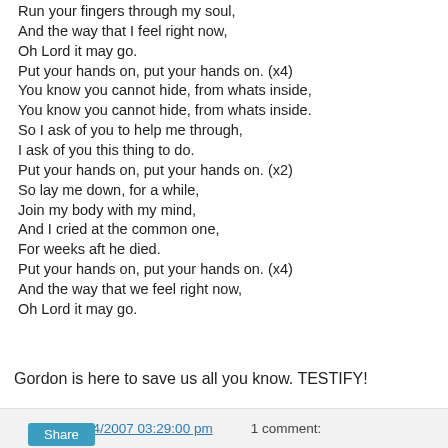Run your fingers through my soul,
And the way that I feel right now,
Oh Lord it may go.
Put your hands on, put your hands on. (x4)
You know you cannot hide, from whats inside,
You know you cannot hide, from whats inside.
So I ask of you to help me through,
I ask of you this thing to do.
Put your hands on, put your hands on. (x2)
So lay me down, for a while,
Join my body with my mind,
And I cried at the common one,
For weeks aft he died.
Put your hands on, put your hands on. (x4)
And the way that we feel right now,
Oh Lord it may go.
Gordon is here to save us all you know. TESTIFY!
dizzy at 9/24/2007 03:29:00 pm   1 comment: